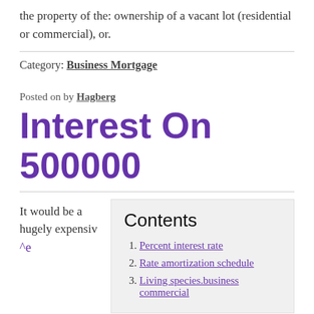the property of the: ownership of a vacant lot (residential or commercial), or.
Category: Business Mortgage
Posted on by Hagberg
Interest On 500000
It would be a hugely expensiv
Contents
Percent interest rate
Rate amortization schedule
Living species.business commercial